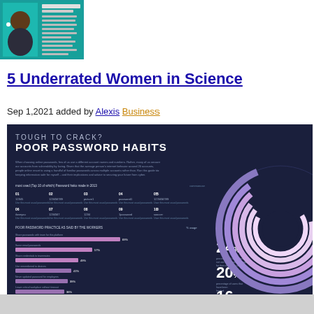[Figure (infographic): Profile card thumbnail with a person illustration on a teal background, with text columns visible.]
5 Underrated Women in Science
Sep 1,2021 added by Alexis Business
[Figure (infographic): Dark navy infographic titled 'TOUGH TO CRACK? POOR PASSWORD HABITS' containing donut/spiral charts in purple and pink, bar charts, statistics (24%, 20%, 16%), and a numbered list of password-related data points.]